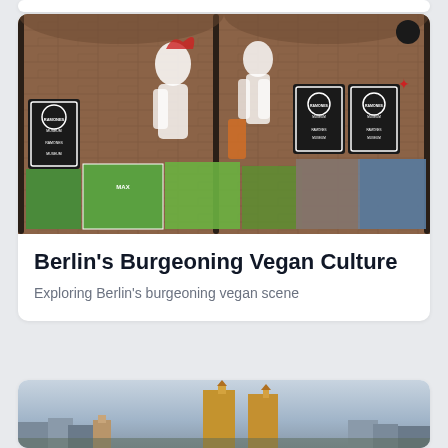[Figure (photo): Photograph of a brick wall covered in street art murals and posters including Ramones Museum signs and large painted figures]
Berlin’s Burgeoning Vegan Culture
Exploring Berlin's burgeoning vegan scene
[Figure (photo): Photograph of a city skyline with tall towers against a cloudy sky]